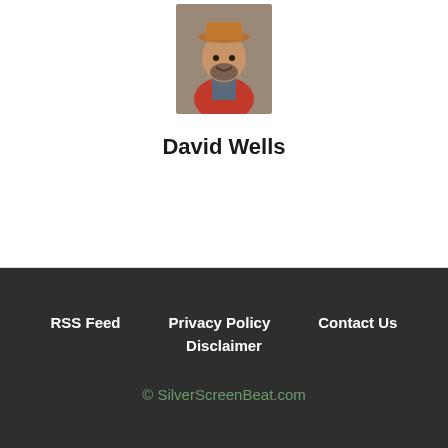[Figure (photo): Headshot photo of David Wells, a man wearing a red vest and hat, smiling outdoors on a cobblestone background]
David Wells
RSS Feed  Privacy Policy  Contact Us  Disclaimer  © SilverScreenBeat.com